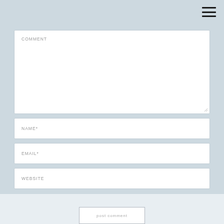[Figure (other): Hamburger menu icon (three horizontal lines) in top-right corner]
COMMENT
NAME*
EMAIL*
WEBSITE
Save my name, email, and website in this browser for the next time I comment.
post comment